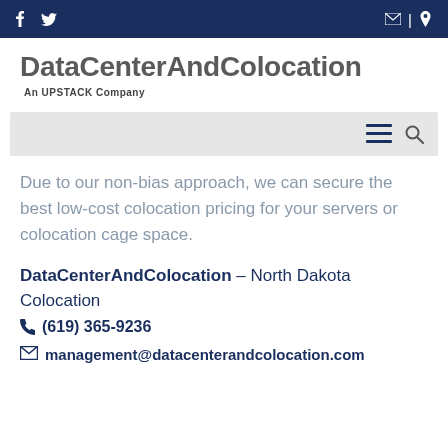f | social icons | mail | phone
DataCenterAndColocation
An UPSTACK Company
[Figure (screenshot): Navigation search bar with hamburger menu icon and search icon on gray background]
Due to our non-bias approach, we can secure the best low-cost colocation pricing for your servers or colocation cage space.
DataCenterAndColocation – North Dakota Colocation
☎ (619) 365-9236
✉ management@datacenterandcolocation.com